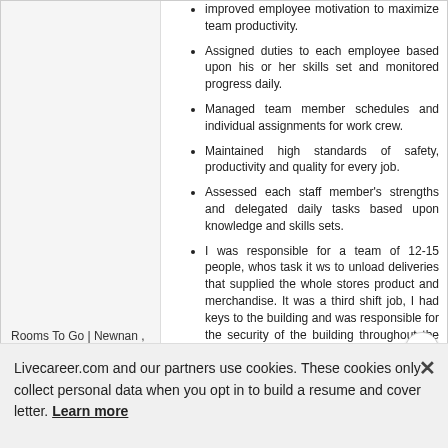improved employee motivation to maximize team productivity.
Assigned duties to each employee based upon his or her skills set and monitored progress daily.
Managed team member schedules and individual assignments for work crew.
Maintained high standards of safety, productivity and quality for every job.
Assessed each staff member's strengths and delegated daily tasks based upon knowledge and skills sets.
I was responsible for a team of 12-15 people, whos task it ws to unload deliveries that supplied the whole stores product and merchandise. It was a third shift job, I had keys to the building and was responsible for the security of the building throughout the shift.
Rooms To Go | Newnan , GA
Carpenter Foreman
01/2007 - 01/2015
Promoted speedy resolution of conflicts and issues between team members by listening and
Livecareer.com and our partners use cookies. These cookies only collect personal data when you opt in to build a resume and cover letter. Learn more